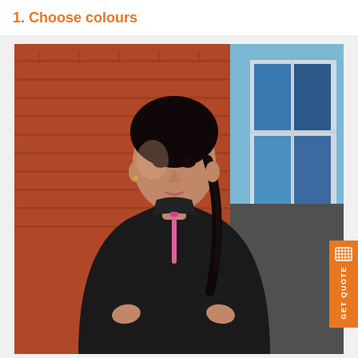1. Choose colours
[Figure (photo): A young woman with braided hair wearing a black athletic top with a pink zip, arms crossed, standing in front of a brick wall and window]
GET QUOTE